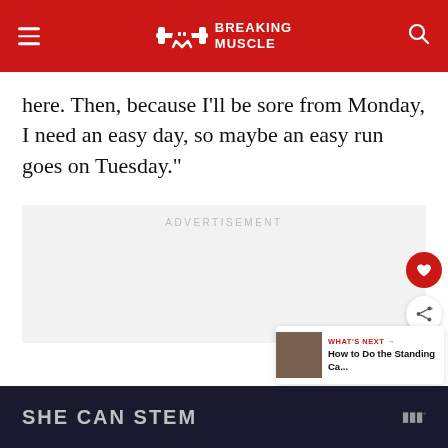BREAKING MUSCLE
here. Then, because I'll be sore from Monday, I need an easy day, so maybe an easy run goes on Tuesday."
[Figure (other): Advertisement placeholder area labeled ADVERTISEMENT]
[Figure (other): What's Next card: How to Do the Standing Ca...]
[Figure (other): Bottom banner: SHE CAN STEM with logo]